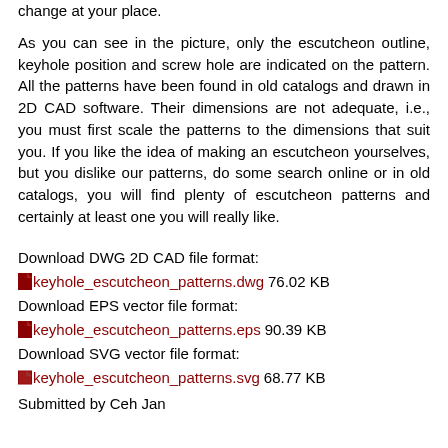change at your place.
As you can see in the picture, only the escutcheon outline, keyhole position and screw hole are indicated on the pattern. All the patterns have been found in old catalogs and drawn in 2D CAD software. Their dimensions are not adequate, i.e., you must first scale the patterns to the dimensions that suit you. If you like the idea of making an escutcheon yourselves, but you dislike our patterns, do some search online or in old catalogs, you will find plenty of escutcheon patterns and certainly at least one you will really like.
Download DWG 2D CAD file format:
keyhole_escutcheon_patterns.dwg 76.02 KB
Download EPS vector file format:
keyhole_escutcheon_patterns.eps 90.39 KB
Download SVG vector file format:
keyhole_escutcheon_patterns.svg 68.77 KB
Submitted by Ceh Jan